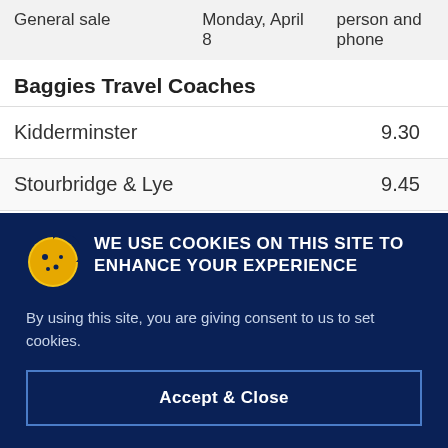| General sale | Monday, April 8 | person and phone |
Baggies Travel Coaches
| Kidderminster | 9.30 |
| Stourbridge & Lye | 9.45 |
WE USE COOKIES ON THIS SITE TO ENHANCE YOUR EXPERIENCE
By using this site, you are giving consent to us to set cookies.
Accept & Close